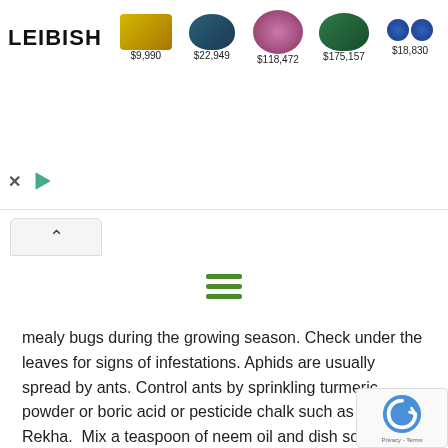[Figure (other): Leibish jewelry advertisement banner showing logo and 5 gem/jewelry items with prices: ring with yellow diamond $9,990; oval blue sapphire $22,949; pink diamond $118,472; green oval gem $175,157; blue sapphire earrings $18,830]
[Figure (other): Hamburger menu icon with three green horizontal lines]
mealy bugs during the growing season. Check under the leaves for signs of infestations. Aphids are usually spread by ants. Control ants by sprinkling turmeric powder or boric acid or pesticide chalk such as Laxman Rekha.  Mix a teaspoon of neem oil and dish soap together well so that they form a light brown colored cream. Mix it with a liter of water and spray. It worked for me. You have to spray it continuously for a week.
Mealy bugs can be controlled by mixing spirit(rubbing alcohol) and water in 1:1 ratio and spraying. It controls